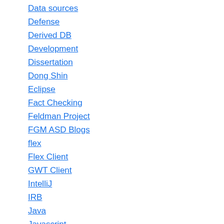Data sources
Defense
Derived DB
Development
Dissertation
Dong Shin
Eclipse
Fact Checking
Feldman Project
FGM ASD Blogs
flex
Flex Client
GWT Client
IntelliJ
IRB
Java
Javascript
Journals
Keras